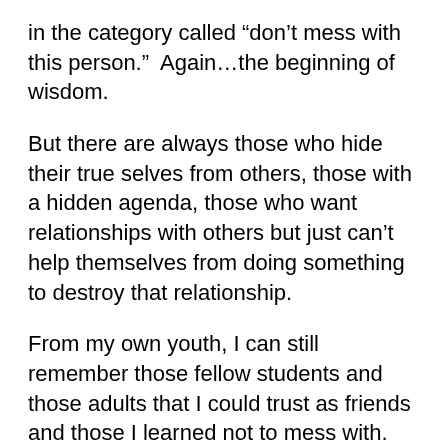in the category called “don’t mess with this person.”  Again…the beginning of wisdom.
But there are always those who hide their true selves from others, those with a hidden agenda, those who want relationships with others but just can’t help themselves from doing something to destroy that relationship.
From my own youth, I can still remember those fellow students and those adults that I could trust as friends and those I learned not to mess with.
I made a few mistakes along the way.
I’ll bet you did too…